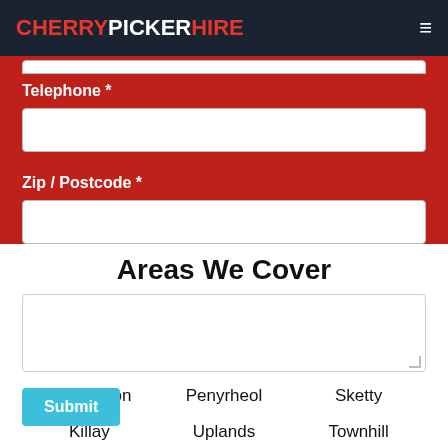CHERRYPICKERHIRE
Telephone *
Zip / Postcode *
Areas We Cover
Bishopston
Penyrheol
Sketty
Killay
Uplands
Townhill
Swansea
Cockett
Penmaen
Cwmburla
St Thomas
Gowerton